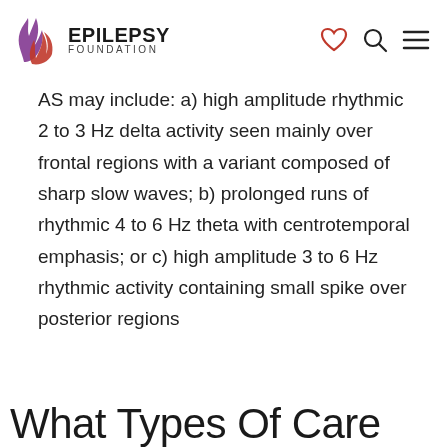EPILEPSY FOUNDATION
AS may include: a) high amplitude rhythmic 2 to 3 Hz delta activity seen mainly over frontal regions with a variant composed of sharp slow waves; b) prolonged runs of rhythmic 4 to 6 Hz theta with centrotemporal emphasis; or c) high amplitude 3 to 6 Hz rhythmic activity containing small spike over posterior regions
What Types Of Care